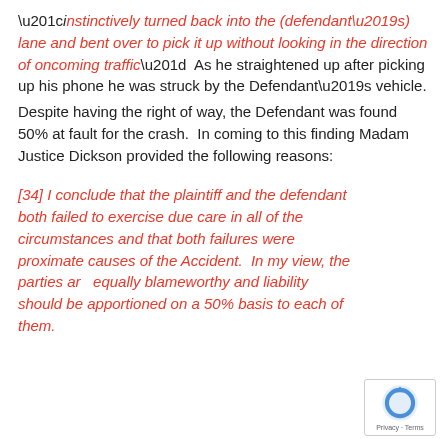“i instinctively turned back into the (defendant’s) lane and bent over to pick it up without looking in the direction of oncoming traffic”  As he straightened up after picking up his phone he was struck by the Defendant’s vehicle.
Despite having the right of way, the Defendant was found 50% at fault for the crash.  In coming to this finding Madam Justice Dickson provided the following reasons:
[34] I conclude that the plaintiff and the defendant both failed to exercise due care in all of the circumstances and that both failures were proximate causes of the Accident.  In my view, the parties are equally blameworthy and liability should be apportioned on a 50% basis to each of them.